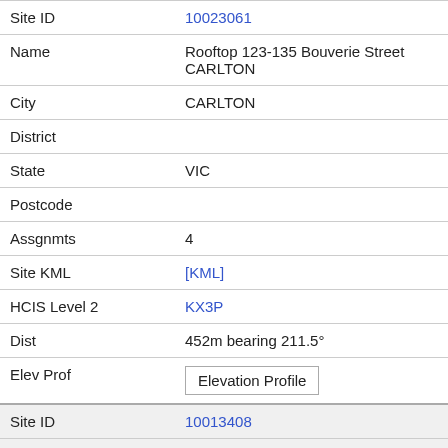| Field | Value |
| --- | --- |
| Site ID | 10023061 |
| Name | Rooftop 123-135 Bouverie Street CARLTON |
| City | CARLTON |
| District |  |
| State | VIC |
| Postcode |  |
| Assgnmts | 4 |
| Site KML | [KML] |
| HCIS Level 2 | KX3P |
| Dist | 452m bearing 211.5° |
| Elev Prof | Elevation Profile |
| Site ID | 10013408 |
| Name | Nona Lee Sports Centre University of Melbourne Tin Alley PARKVILLE |
| City | PARKVILLE |
| District |  |
| State | VIC |
| Postcode |  |